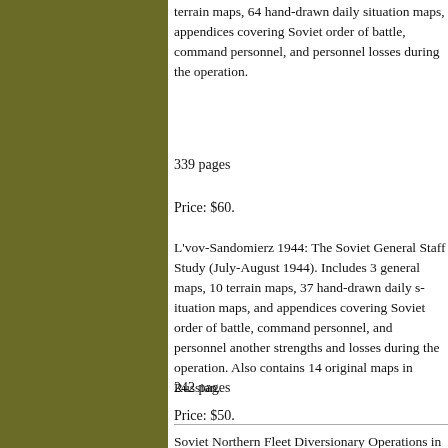[Figure (other): Olive/dark yellow-green colored vertical bar on the left side of the page]
terrain maps, 64 hand-drawn daily situation maps, appendices covering Soviet order of battle, command personnel, and personnel losses during the operation.
339 pages
Price: $60.
L'vov-Sandomierz 1944: The Soviet General Staff Study (July-August 1944). Includes 3 general maps, 10 terrain maps, 37 hand-drawn daily situation maps, and appendices covering Soviet order of battle, command personnel, and personnel and equipment strengths and losses during the operation. Also contains 14 original maps in Russian.
242 pages
Price: $50.
Soviet Northern Fleet Diversionary Operations in Motovskiy Bay, September 1942: The Russian General Staff Study. Includes 6 maps and endnotes.